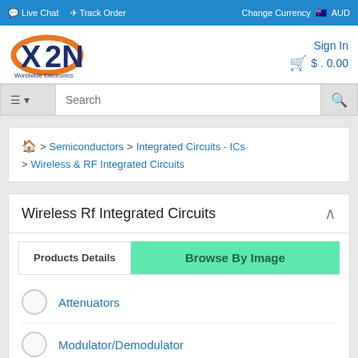Live Chat  Track Order  Change Currency  AUD
[Figure (logo): XN Worldwide Electronics logo with orange swoosh and dark blue text]
Sign In  $ 0.00
Search
Home > Semiconductors > Integrated Circuits - ICs > Wireless & RF Integrated Circuits
Wireless Rf Integrated Circuits
Products Details  Browse By Image
Attenuators
Modulator/Demodulator
NFC/RFID Tags & Transponders